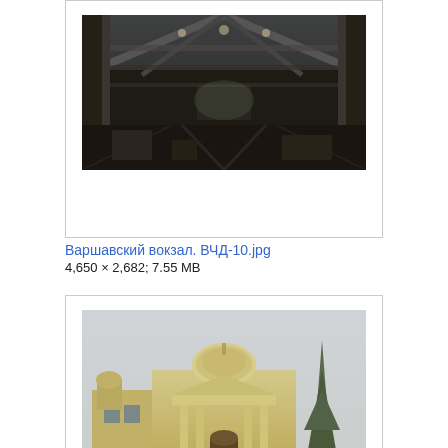[Figure (photo): Interior of an industrial building - Varshavsky station warehouse, dark ceiling with steel beams and industrial tracks]
Варшавский вокзал. ВЧД-10.jpg
4,650 × 2,682; 7.55 MB
[Figure (photo): Main entrance of an astronomical observatory - neoclassical building facade with dome, columns, and a large evergreen tree in winter snow]
Главный вход в астрономическую обсерваторию.JPG
4,752 × 3,168; 6.43 MB